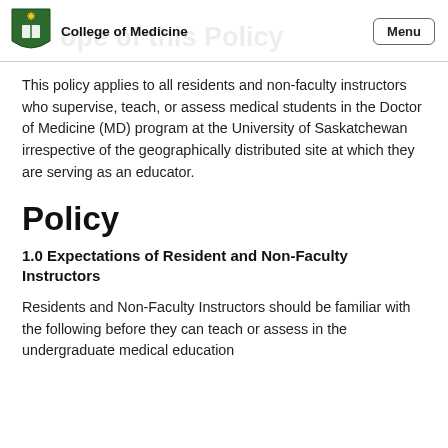College of Medicine
Scope of this Policy
This policy applies to all residents and non-faculty instructors who supervise, teach, or assess medical students in the Doctor of Medicine (MD) program at the University of Saskatchewan irrespective of the geographically distributed site at which they are serving as an educator.
Policy
1.0 Expectations of Resident and Non-Faculty Instructors
Residents and Non-Faculty Instructors should be familiar with the following before they can teach or assess in the undergraduate medical education